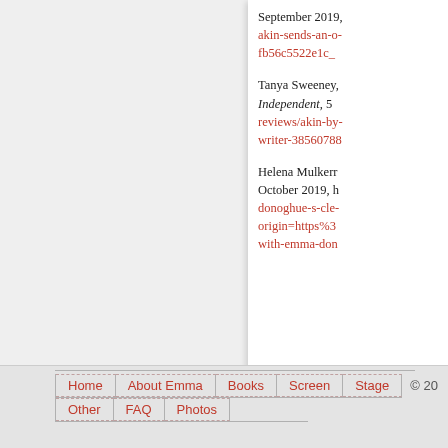September 2019, akin-sends-an-o... fb56c5522e1c_...
Tanya Sweeney... Independent, 5 ... reviews/akin-by... writer-38560788...
Helena Mulkern... October 2019, h... donoghue-s-cle... origin=https%3... with-emma-don...
Home   About Emma   Books   Screen   Stage   Other   FAQ   Photos   © 20...